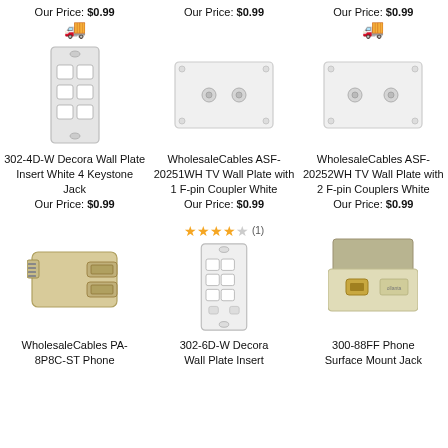Our Price: $0.99
[Figure (photo): Truck/shipping icon]
[Figure (photo): 302-4D-W Decora Wall Plate Insert White 4 Keystone Jack]
302-4D-W Decora Wall Plate Insert White 4 Keystone Jack Our Price: $0.99
Our Price: $0.99
[Figure (photo): WholesaleCables ASF-20251WH TV Wall Plate with 1 F-pin Coupler White]
WholesaleCables ASF-20251WH TV Wall Plate with 1 F-pin Coupler White Our Price: $0.99
Our Price: $0.99
[Figure (photo): Truck/shipping icon]
[Figure (photo): WholesaleCables ASF-20252WH TV Wall Plate with 2 F-pin Couplers White]
WholesaleCables ASF-20252WH TV Wall Plate with 2 F-pin Couplers White Our Price: $0.99
[Figure (photo): WholesaleCables PA-8P8C-ST Phone adapter]
WholesaleCables PA-8P8C-ST Phone
★★★★☆ (1)
[Figure (photo): 302-6D-W Decora Wall Plate Insert]
302-6D-W Decora Wall Plate Insert
[Figure (photo): 300-88FF Phone Surface Mount Jack]
300-88FF Phone Surface Mount Jack